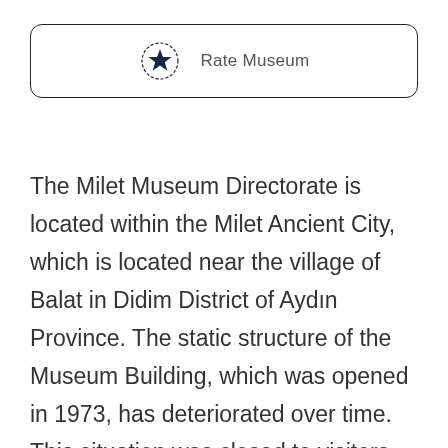[Figure (other): A button UI element with a star icon surrounded by a dotted circle and the text 'Rate Museum', enclosed in a rounded rectangle border.]
The Milet Museum Directorate is located within the Milet Ancient City, which is located near the village of Balat in Didim District of Aydın Province. The static structure of the Museum Building, which was opened in 1973, has deteriorated over time. This situation was closed to visitors due to the danger of life and property safety. After the closure of the Old Museum Building, work has been